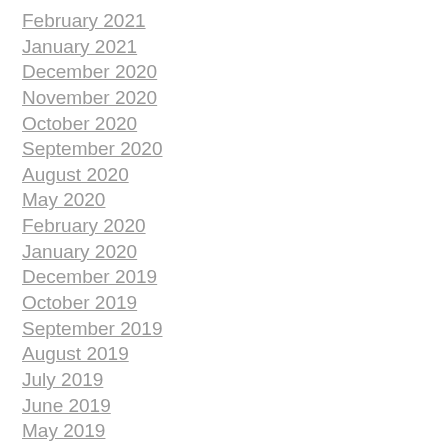February 2021
January 2021
December 2020
November 2020
October 2020
September 2020
August 2020
May 2020
February 2020
January 2020
December 2019
October 2019
September 2019
August 2019
July 2019
June 2019
May 2019
April 2019
March 2019